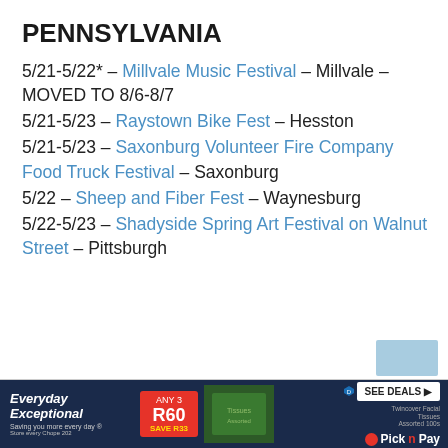PENNSYLVANIA
5/21-5/22* – Millvale Music Festival – Millvale – MOVED TO 8/6-8/7
5/21-5/23 – Raystown Bike Fest – Hesston
5/21-5/23 – Saxonburg Volunteer Fire Company Food Truck Festival – Saxonburg
5/22 – Sheep and Fiber Fest – Waynesburg
5/22-5/23 – Shadyside Spring Art Festival on Walnut Street – Pittsburgh
[Figure (other): Pick n Pay advertisement banner: Everyday Exceptional, ANY 3 R60 SAVE R33, Twincover Facial Tissues Assorted 100s, SEE DEALS button, Pick n Pay logo]